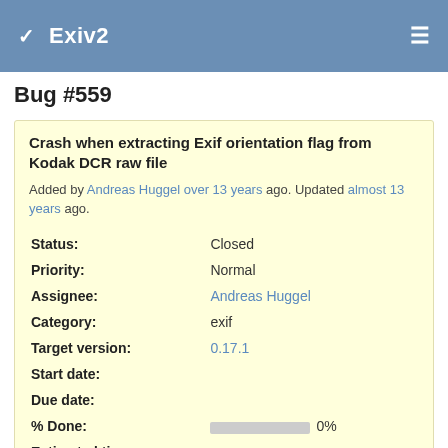Exiv2
Bug #559
Crash when extracting Exif orientation flag from Kodak DCR raw file
Added by Andreas Huggel over 13 years ago. Updated almost 13 years ago.
| Field | Value |
| --- | --- |
| Status: | Closed |
| Priority: | Normal |
| Assignee: | Andreas Huggel |
| Category: | exif |
| Target version: | 0.17.1 |
| Start date: |  |
| Due date: |  |
| % Done: | 0% |
| Estimated time: |  |